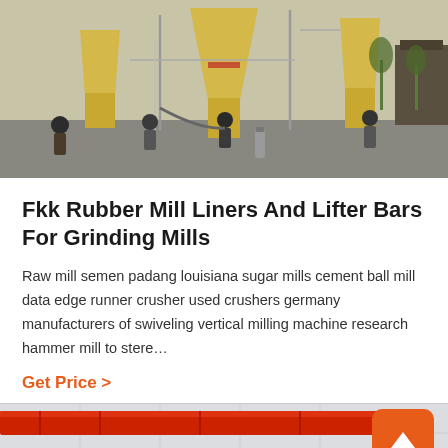[Figure (photo): Industrial grinding mill facility with yellow conical mill equipment and workers in a factory yard]
Fkk Rubber Mill Liners And Lifter Bars For Grinding Mills
Raw mill semen padang louisiana sugar mills cement ball mill data edge runner crusher used crushers germany manufacturers of swiveling vertical milling machine research hammer mill to stere…
Get Price >
[Figure (photo): Industrial warehouse interior with red crane beam and white paneled ceiling]
Leave Message   Chat Online